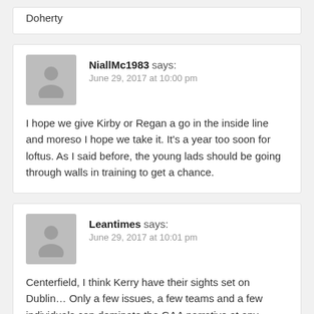Doherty
NiallMc1983 says:
June 29, 2017 at 10:00 pm

I hope we give Kirby or Regan a go in the inside line and moreso I hope we take it. It's a year too soon for loftus. As I said before, the young lads should be going through walls in training to get a chance.
Leantimes says:
June 29, 2017 at 10:01 pm

Centerfield, I think Kerry have their sights set on Dublin… Only a few issues, a few teams and a few individuals can dominate the GAA narrative at any moment in time… Mayo aren't in the headlines at the for the moment. Aiden was center stage for a